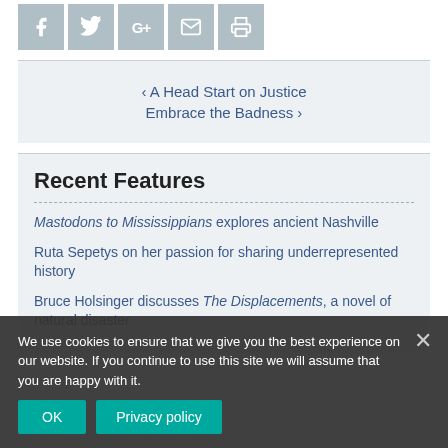[Figure (infographic): Social share icons: Facebook, Twitter, Google+, Email, Print]
‹ A Head Start on Justice
Embrace the Badness ›
Recent Features
Mastodons to Mississippians explores ancient Nashville
Ruta Sepetys on her passion for sharing underrepresented history
Bruce Holsinger discusses The Displacements, a novel of natural disaster
We use cookies to ensure that we give you the best experience on our website. If you continue to use this site we will assume that you are happy with it.